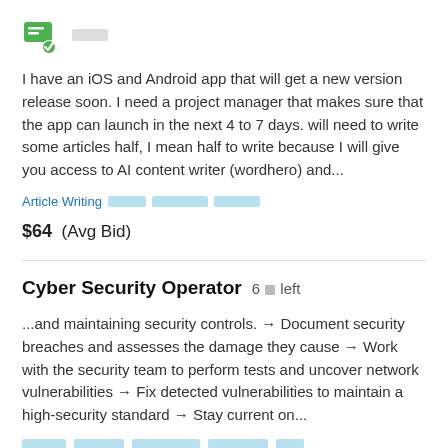[Figure (logo): Green chat/document icon with a checkmark, followed by blurred gray tag]
I have an iOS and Android app that will get a new version release soon. I need a project manager that makes sure that the app can launch in the next 4 to 7 days. will need to write some articles half, I mean half to write because I will give you access to AI content writer (wordhero) and...
Article Writing [blurred tags]
$64  (Avg Bid)
Cyber Security Operator  6 days left
...and maintaining security controls. → Document security breaches and assesses the damage they cause → Work with the security team to perform tests and uncover network vulnerabilities → Fix detected vulnerabilities to maintain a high-security standard → Stay current on...
[blurred tags row]